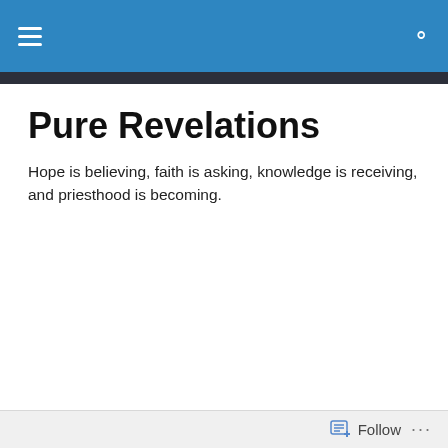Pure Revelations — navigation bar with menu and search icons
Pure Revelations
Hope is believing, faith is asking, knowledge is receiving, and priesthood is becoming.
[Figure (photo): Sunrise or dawn light cresting the curve of a planet or Earth from space, with warm golden and orange light on the left and deep dark space on right, planet surface curving across the bottom.]
The Nativity Vision
March 13 2016, Here is a small portion of what I was
Follow  •••